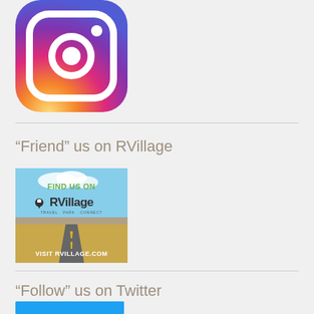[Figure (logo): Instagram logo icon with gradient background (orange/pink/purple) and white camera icon]
“Friend” us on RVillage
[Figure (illustration): RVillage banner ad showing a desert road and text: FIND US ON RVillage TRAVEL. PARK. CONNECT. VISIT RVILLAGE.COM]
“Follow” us on Twitter
[Figure (logo): Twitter button (blue rectangle, partially visible at bottom)]